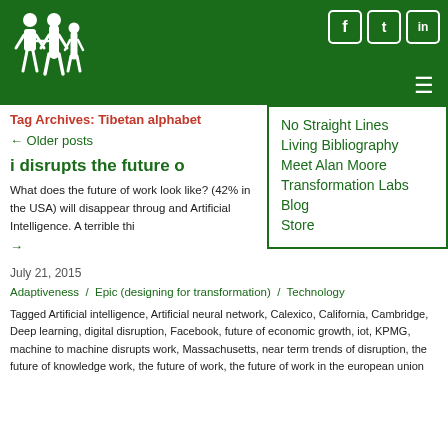Header with logo and social icons (Facebook, Twitter, LinkedIn) on dark green background
Tag Archives: Tibetan alphabet
← Older posts
i disrupts the future o
What does the future of work look like? (42% in the USA) will disappear through and Artificial Intelligence. A terrible thi
→
July 21, 2015
Adaptiveness / Epic (designing for transformation) / Technology
Tagged Artificial intelligence, Artificial neural network, Calexico, California, Cambridge, Deep learning, digital disruption, Facebook, future of economic growth, iot, KPMG, machine to machine disrupts work, Massachusetts, near term trends of disruption, the future of knowledge work, the future of work, the future of work in the european union